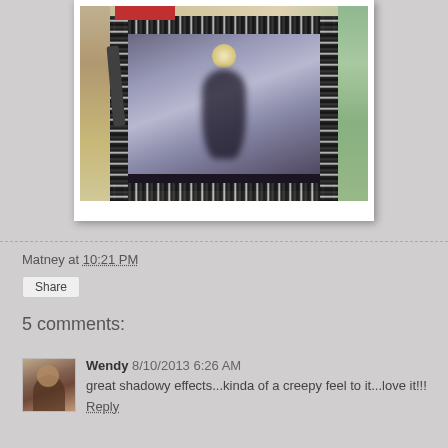[Figure (photo): A photograph of a decorative framed art piece with a black ornate border featuring skull/floral patterns. The image inside shows a shadowy ghost-like figure with a moon above it, creating a dark, eerie atmospheric effect. The piece sits on a colorful patterned surface.]
Matney at 10:21 PM
Share
5 comments:
Wendy 8/10/2013 6:26 AM
great shadowy effects...kinda of a creepy feel to it...love it!!!
Reply